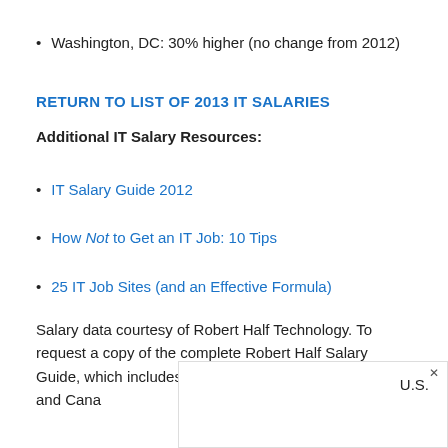Washington, DC: 30% higher (no change from 2012)
RETURN TO LIST OF 2013 IT SALARIES
Additional IT Salary Resources:
IT Salary Guide 2012
How Not to Get an IT Job: 10 Tips
25 IT Job Sites (and an Effective Formula)
Salary data courtesy of Robert Half Technology. To request a copy of the complete Robert Half Salary Guide, which includes salary ra… U.S. and Cana…